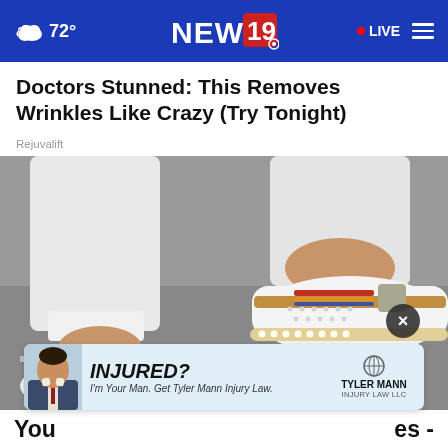72° NEWS 19 LIVE
Doctors Stunned: This Removes Wrinkles Like Crazy (Try Tonight)
Rejuvalift
[Figure (photo): Close-up photo of a person's feet wearing white slip-on sneakers with decorative perforations and brown/striped details, paired with white rolled-up jeans, standing on a grey street surface.]
[Figure (photo): Advertisement banner for Tyler Mann Injury Law LLC showing a man in a suit with text: INJURED? Tyler Mann Injury Law LLC. I'm Your Man. Get Tyler Mann Injury Law.]
You                                                              es -